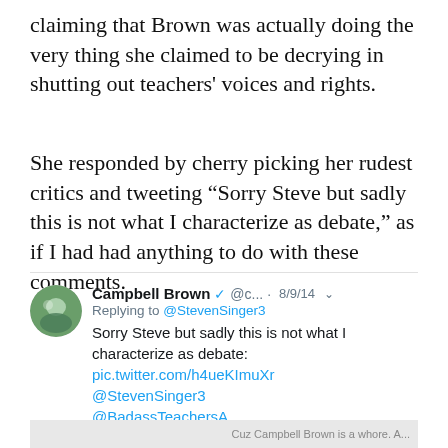claiming that Brown was actually doing the very thing she claimed to be decrying in shutting out teachers' voices and rights.
She responded by cherry picking her rudest critics and tweeting “Sorry Steve but sadly this is not what I characterize as debate,” as if I had had anything to do with these comments.
[Figure (screenshot): Embedded tweet from Campbell Brown (@c...) dated 8/9/14, replying to @StevenSinger3: 'Sorry Steve but sadly this is not what I characterize as debate: pic.twitter.com/h4ueKImuXr @StevenSinger3 @BadassTeachersA']